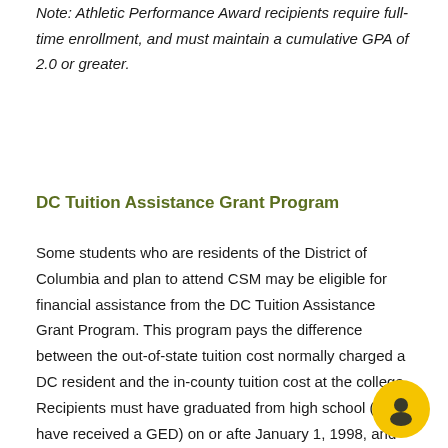Note: Athletic Performance Award recipients require full-time enrollment, and must maintain a cumulative GPA of 2.0 or greater.
DC Tuition Assistance Grant Program
Some students who are residents of the District of Columbia and plan to attend CSM may be eligible for financial assistance from the DC Tuition Assistance Grant Program. This program pays the difference between the out-of-state tuition cost normally charged a DC resident and the in-county tuition cost at the college. Recipients must have graduated from high school (or have received a GED) on or after January 1, 1998, and must have begun college